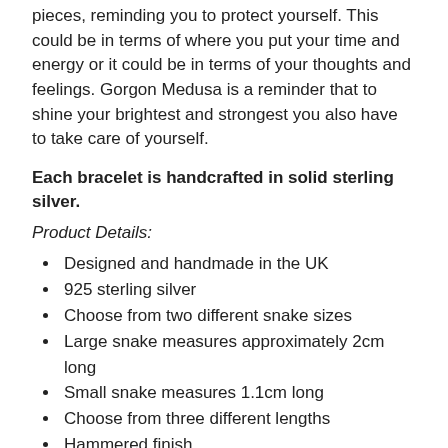pieces, reminding you to protect yourself. This could be in terms of where you put your time and energy or it could be in terms of your thoughts and feelings. Gorgon Medusa is a reminder that to shine your brightest and strongest you also have to take care of yourself.
Each bracelet is handcrafted in solid sterling silver.
Product Details:
Designed and handmade in the UK
925 sterling silver
Choose from two different snake sizes
Large snake measures approximately 2cm long
Small snake measures 1.1cm long
Choose from three different lengths
Hammered finish
Delivery:
The bracelet will be posted with royal mail 3-5